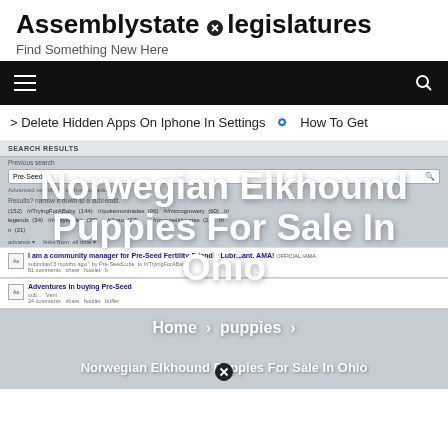Assemblystatelegislatures
Find Something New Here
[Figure (screenshot): Navigation bar with hamburger menu icon on left and search icon on right, black background]
> Delete Hidden Apps On Iphone In Settings  ⊙ How To Get
[Figure (screenshot): Reddit search results page screenshot showing search for Pre-Seed with various subreddit results listed]
Norwegian Elkhound Puppies For Sale In Ohio
Home > puppies >
Norwegian Elkhound Puppies For Sale In Ohio